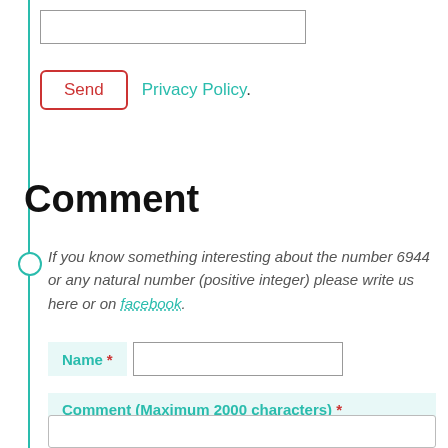[Figure (other): Input text box (top area)]
Send  Privacy Policy.
Comment
If you know something interesting about the number 6944 or any natural number (positive integer) please write us here or on facebook.
Name *
Comment (Maximum 2000 characters) *